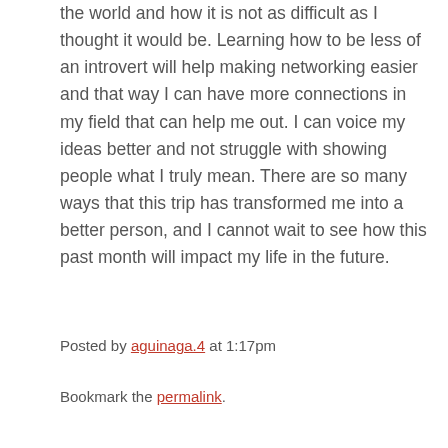the world and how it is not as difficult as I thought it would be. Learning how to be less of an introvert will help making networking easier and that way I can have more connections in my field that can help me out. I can voice my ideas better and not struggle with showing people what I truly mean. There are so many ways that this trip has transformed me into a better person, and I cannot wait to see how this past month will impact my life in the future.
Posted by aguinaga.4 at 1:17pm
Bookmark the permalink.